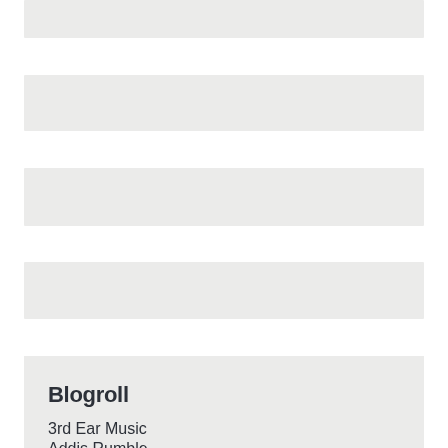[Figure (other): Gray placeholder block 1]
[Figure (other): Gray placeholder block 2]
[Figure (other): Gray placeholder block 3]
[Figure (other): Gray placeholder block 4]
Blogroll
3rd Ear Music
Addis Rumble